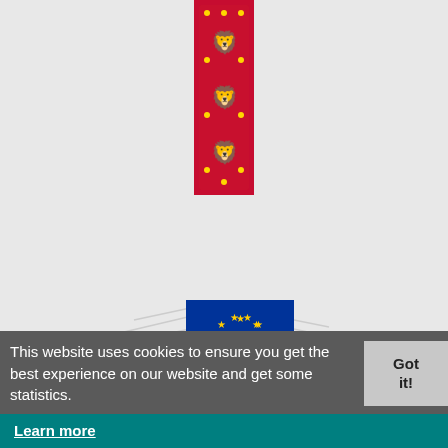[Figure (logo): Danish coat of arms / flag logo — vertical red banner with three golden lions emblem]
[Figure (logo): European Commission logo with EU flag (blue with gold stars) and stylized Berlaymont building lines, text 'European Commission' with blue underline]
[Figure (logo): Children's Investment Fund (CIFF) logo — red vertical bar with 'CIFF' text rotated, followed by bold text 'CHILDREN'S INVESTMENT FUND']
This website uses cookies to ensure you get the best experience on our website and get some statistics.
Got it!
Learn more